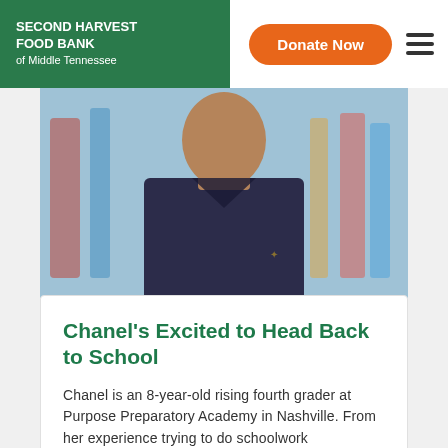SECOND HARVEST FOOD BANK of Middle Tennessee
[Figure (photo): Person wearing a dark polo shirt, photographed from chest up, with a blurred colorful background suggesting an indoor setting.]
Chanel's Excited to Head Back to School
Chanel is an 8-year-old rising fourth grader at Purpose Preparatory Academy in Nashville. From her experience trying to do schoolwork
READ ARTICLE